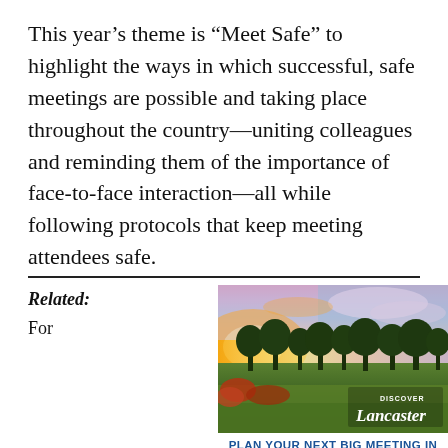This year's theme is “Meet Safe” to highlight the ways in which successful, safe meetings are possible and taking place throughout the country—uniting colleagues and reminding them of the importance of face-to-face interaction—all while following protocols that keep meeting attendees safe.
Related: For
[Figure (photo): Landscape photo of a sunset over green fields with trees silhouetted against a colorful sky, with 'Discover Lancaster' logo overlay]
PLAN YOUR NEXT BIG MEETING IN